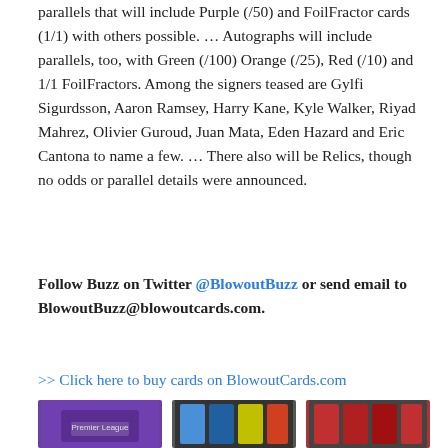parallels that will include Purple (/50) and FoilFractor cards (1/1) with others possible. … Autographs will include parallels, too, with Green (/100) Orange (/25), Red (/10) and 1/1 FoilFractors. Among the signers teased are Gylfi Sigurdsson, Aaron Ramsey, Harry Kane, Kyle Walker, Riyad Mahrez, Olivier Guroud, Juan Mata, Eden Hazard and Eric Cantona to name a few. … There also will be Relics, though no odds or parallel details were announced.
Follow Buzz on Twitter @BlowoutBuzz or send email to BlowoutBuzz@blowoutcards.com.
>> Click here to buy cards on BlowoutCards.com
[Figure (photo): Three trading card product images side by side: a purple Premier League box display on the left, a group of player cards in the middle, and another group of player cards on the right.]